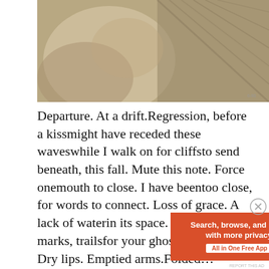[Figure (photo): Sepia-toned close-up photograph showing partial view of a person and textured fabric or material]
Departure. At a drift.Regression, before a kissmight have receded these waveswhile I walk on for cliffsto send beneath, this fall. Mute this note. Force onemouth to close. I have beentoo close, for words to connect. Loss of grace. A lack of waterin its space. Leaving marks, trailsfor your ghost to follow. Dry lips. Emptied arms.Folded… Continue reading →
Advertisements
[Figure (screenshot): DuckDuckGo advertisement banner: orange left panel with text 'Search, browse, and email with more privacy. All in One Free App', dark right panel with DuckDuckGo duck logo and brand name]